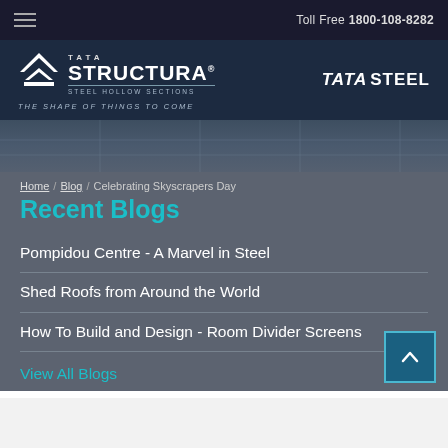Toll Free 1800-108-8282
[Figure (logo): Tata Structura Steel Hollow Sections logo with house/chevron icon, tagline 'The Shape of Things To Come', and Tata Steel logo on the right]
[Figure (photo): Blurred architectural/blueprint background hero image]
Home / Blog / Celebrating Skyscrapers Day
Recent Blogs
Pompidou Centre - A Marvel in Steel
Shed Roofs from Around the World
How To Build and Design - Room Divider Screens
View All Blogs